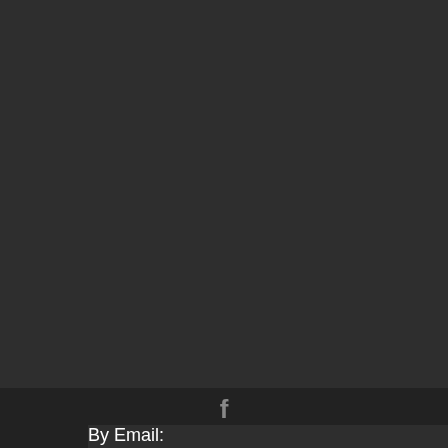Privacy Agreement
Service Agreement
Terms Of Use
Contact Us
By Phone: (613)-618-3191
By Email: info@elevatedbusinesssolutions.com
[Figure (other): Facebook social media icon (letter f)]
© Elevated Business Solutions 2020